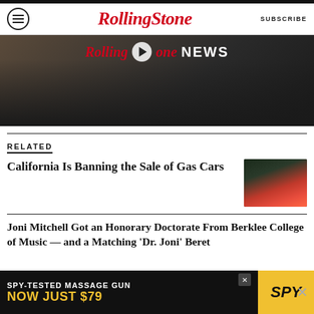Rolling Stone
[Figure (screenshot): Rolling Stone News video thumbnail with two people outdoors, one in white puffer jacket and one in red hoodie with sunglasses]
RELATED
California Is Banning the Sale of Gas Cars
[Figure (photo): Aerial view of busy highway at night with red taillights and traffic]
Joni Mitchell Got an Honorary Doctorate From Berklee College of Music — and a Matching 'Dr. Joni' Beret
[Figure (screenshot): Advertisement: SPY-TESTED MASSAGE GUN NOW JUST $79 with SPY logo]